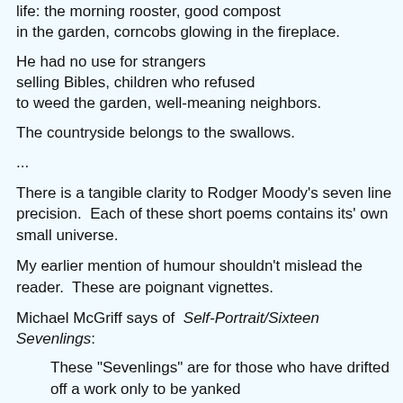life: the morning rooster, good compost
in the garden, corncobs glowing in the fireplace.
He had no use for strangers
selling Bibles, children who refused
to weed the garden, well-meaning neighbors.
The countryside belongs to the swallows.
...
There is a tangible clarity to Rodger Moody's seven line precision.  Each of these short poems contains its' own small universe.
My earlier mention of humour shouldn't mislead the reader.  These are poignant vignettes.
Michael McGriff says of  Self-Portrait/Sixteen Sevenlings:
These "Sevenlings" are for those who have drifted off a work only to be yanked
back to a seemingly causeless reality (He remembers the